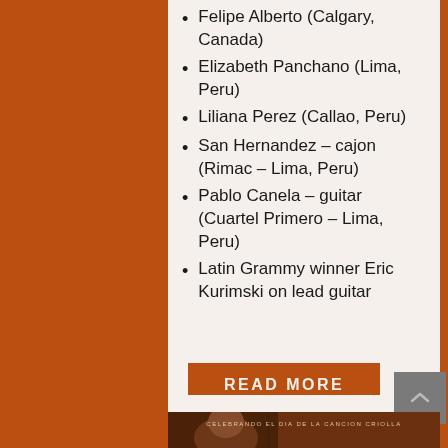Felipe Alberto (Calgary, Canada)
Elizabeth Panchano (Lima, Peru)
Liliana Perez (Callao, Peru)
San Hernandez – cajon (Rimac – Lima, Peru)
Pablo Canela – guitar (Cuartel Primero – Lima, Peru)
Latin Grammy winner Eric Kurimski on lead guitar (Queens, NY)
READ MORE
[Figure (photo): Bottom section showing a person's face with text 'CELEBRANDO EL DIA DE LA CANCION CRIOLLA' on a dark warm-toned background]